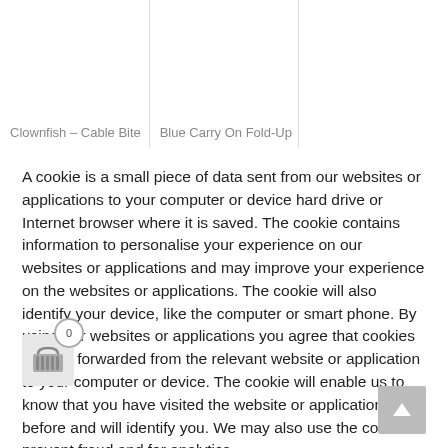Clownfish – Cable Bite
Blue Carry On Fold-Up
A cookie is a small piece of data sent from our websites or applications to your computer or device hard drive or Internet browser where it is saved. The cookie contains information to personalise your experience on our websites or applications and may improve your experience on the websites or applications. The cookie will also identify your device, like the computer or smart phone. By using our websites or applications you agree that cookies may be forwarded from the relevant website or application to your computer or device. The cookie will enable us to know that you have visited the website or application before and will identify you. We may also use the cookie to prevent fraud and for analytics.
Cookie Settings
Accept All